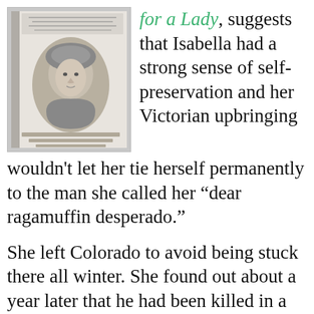[Figure (photo): A photograph of a book cover showing a portrait illustration of a woman wearing a bonnet. The book appears to be about Isabella Bird, traveller extraordinaire.]
for a Lady, suggests that Isabella had a strong sense of self-preservation and her Victorian upbringing wouldn't let her tie herself permanently to the man she called her “dear ragamuffin desperado.”
She left Colorado to avoid being stuck there all winter. She found out about a year later that he had been killed in a fight.